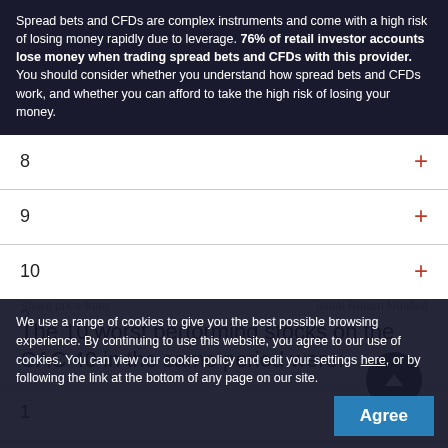Spread bets and CFDs are complex instruments and come with a high risk of losing money rapidly due to leverage. 76% of retail investor accounts lose money when trading spread bets and CFDs with this provider. You should consider whether you understand how spread bets and CFDs work, and whether you can afford to take the high risk of losing your money.
8
9
10
The 10 worst performing stocks on the CAC 40 in the same period were:
1
2
We use a range of cookies to give you the best possible browsing experience. By continuing to use this website, you agree to our use of cookies. You can view our cookie policy and edit your settings here, or by following the link at the bottom of any page on our site.